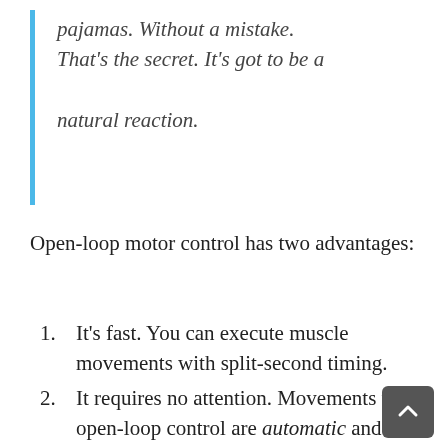pajamas. Without a mistake. That's the secret. It's got to be a natural reaction.
Open-loop motor control has two advantages:
1. It's fast. You can execute muscle movements with split-second timing.
2. It requires no attention. Movements under open-loop control are automatic and mentally effortless.